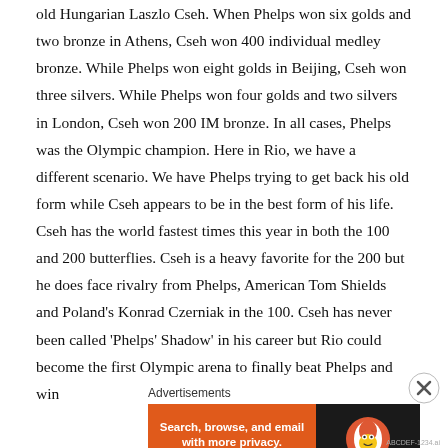old Hungarian Laszlo Cseh. When Phelps won six golds and two bronze in Athens, Cseh won 400 individual medley bronze. While Phelps won eight golds in Beijing, Cseh won three silvers. While Phelps won four golds and two silvers in London, Cseh won 200 IM bronze. In all cases, Phelps was the Olympic champion. Here in Rio, we have a different scenario. We have Phelps trying to get back his old form while Cseh appears to be in the best form of his life. Cseh has the world fastest times this year in both the 100 and 200 butterflies. Cseh is a heavy favorite for the 200 but he does face rivalry from Phelps, American Tom Shields and Poland's Konrad Czerniak in the 100. Cseh has never been called 'Phelps' Shadow' in his career but Rio could become the first Olympic arena to finally beat Phelps and win
Advertisements
[Figure (other): DuckDuckGo advertisement banner: orange left section with text 'Search, browse, and email with more privacy. All in One Free App' and dark right section with DuckDuckGo logo]